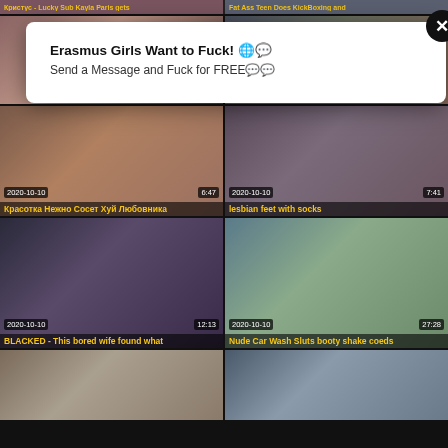[Figure (screenshot): Adult video thumbnail grid with popup overlay showing sponsored message. Top partial thumbnails, middle rows with dated thumbnails and titles, bottom partial row.]
Erasmus Girls Want to Fuck! Send a Message and Fuck for FREE
Красотка Нежно Сосет Хуй Любовника
lesbian feet with socks
BLACKED - This bored wife found what
Nude Car Wash Sluts booty shake coeds